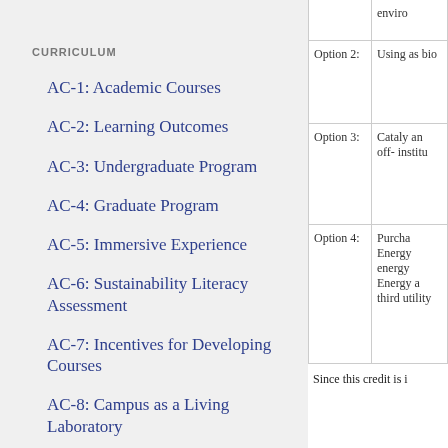CURRICULUM
AC-1: Academic Courses
AC-2: Learning Outcomes
AC-3: Undergraduate Program
AC-4: Graduate Program
AC-5: Immersive Experience
AC-6: Sustainability Literacy Assessment
AC-7: Incentives for Developing Courses
AC-8: Campus as a Living Laboratory
RESEARCH
|  |  |
| --- | --- |
|  | enviro |
| Option 2: | Using as bio |
| Option 3: | Cataly an off- institu |
| Option 4: | Purcha Energy energy Energy a third utility |
Since this credit is i